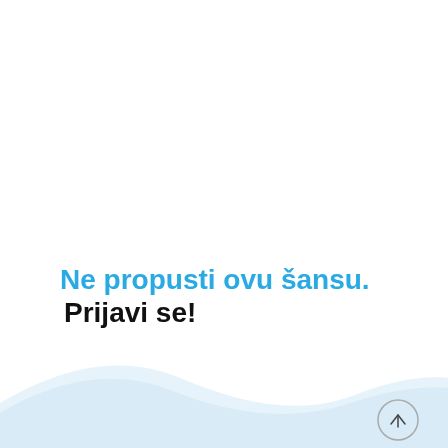Ne propusti ovu šansu. Prijavi se!
[Figure (illustration): Light blue wave decoration at the bottom of the page with a circular arrow-up button in the bottom right corner]